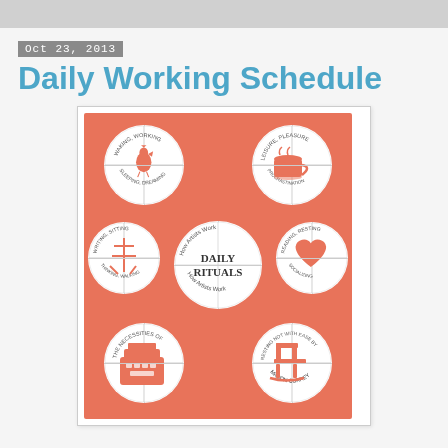Oct 23, 2013
Daily Working Schedule
[Figure (photo): Book cover of 'Daily Rituals: How Artists Work' by Mason Currey, featuring a coral/salmon colored cover with six circular clock-like diagrams each containing a different illustration (rooster, coffee cup, Chinese character, heart, typewriter, rocking chair) and the title 'Daily Rituals' in the center circle. Text around each circle reads 'How Artists Work' in curved arrangement.]